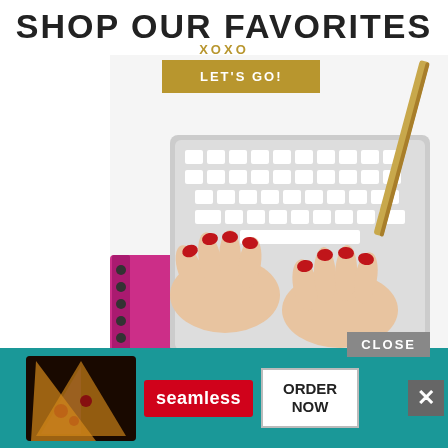SHOP OUR FAVORITES
XOXO
[Figure (other): Button: LET'S GO! in gold/tan background]
[Figure (photo): Woman's hands with red nails typing on a white keyboard, pink notebook to the left, gold pen to the right, white background]
“As an Amazon Associate, I earn from qualifying purchases.” #ad
pretty focused photography courses
[Figure (screenshot): Advertisement overlay at the bottom: teal background with CLOSE button, pizza image, Seamless red badge, ORDER NOW white button, and X close button]